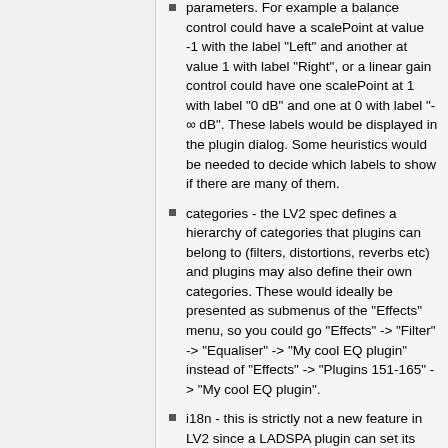parameters. For example a balance control could have a scalePoint at value -1 with the label "Left" and another at value 1 with label "Right", or a linear gain control could have one scalePoint at 1 with label "0 dB" and one at 0 with label "-∞ dB". These labels would be displayed in the plugin dialog. Some heuristics would be needed to decide which labels to show if there are many of them.
categories - the LV2 spec defines a hierarchy of categories that plugins can belong to (filters, distortions, reverbs etc) and plugins may also define their own categories. These would ideally be presented as submenus of the "Effects" menu, so you could go "Effects" -> "Filter" -> "Equaliser" -> "My cool EQ plugin" instead of "Effects" -> "Plugins 151-165" -> "My cool EQ plugin".
i18n - this is strictly not a new feature in LV2 since a LADSPA plugin can set its port names and plugin names to different values depending on the current locale